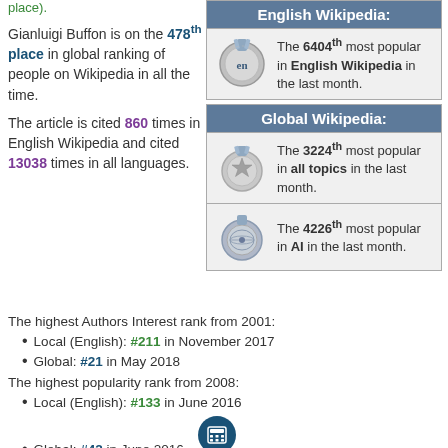place).
Gianluigi Buffon is on the 478th place in global ranking of people on Wikipedia in all the time.
The article is cited 860 times in English Wikipedia and cited 13038 times in all languages.
English Wikipedia:
The 6404th most popular in English Wikipedia in the last month.
Global Wikipedia:
The 3224th most popular in all topics in the last month.
The 4226th most popular in AI in the last month.
The highest Authors Interest rank from 2001:
Local (English): #211 in November 2017
Global: #21 in May 2018
The highest popularity rank from 2008:
Local (English): #133 in June 2016
Global: #42 in June 2016
There are 50 language versions of this article in WikiRank database (of the considered 55 Wikipedia language editions).